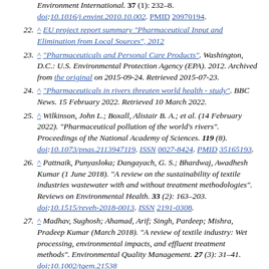21. (continued) Environment International. 37 (1): 232-8. doi:10.1016/j.envint.2010.10.002. PMID 20970194.
22. ^ EU project report summary "Pharmaceutical Input and Elimination from Local Sources", 2012
23. ^ "Pharmaceuticals and Personal Care Products". Washington, D.C.: U.S. Environmental Protection Agency (EPA). 2012. Archived from the original on 2015-09-24. Retrieved 2015-07-23.
24. ^ "Pharmaceuticals in rivers threaten world health - study". BBC News. 15 February 2022. Retrieved 10 March 2022.
25. ^ Wilkinson, John L.; Boxall, Alistair B. A.; et al. (14 February 2022). "Pharmaceutical pollution of the world's rivers". Proceedings of the National Academy of Sciences. 119 (8). doi:10.1073/pnas.2113947119. ISSN 0027-8424. PMID 35165193.
26. ^ Pattnaik, Punyasloka; Dangayach, G. S.; Bhardwaj, Awadhesh Kumar (1 June 2018). "A review on the sustainability of textile industries wastewater with and without treatment methodologies". Reviews on Environmental Health. 33 (2): 163-203. doi:10.1515/reveh-2018-0013. ISSN 2191-0308.
27. ^ Madhav, Sughosh; Ahamad, Arif; Singh, Pardeep; Mishra, Pradeep Kumar (March 2018). "A review of textile industry: Wet processing, environmental impacts, and effluent treatment methods". Environmental Quality Management. 27 (3): 31-41. doi:10.1002/tqem.21538.